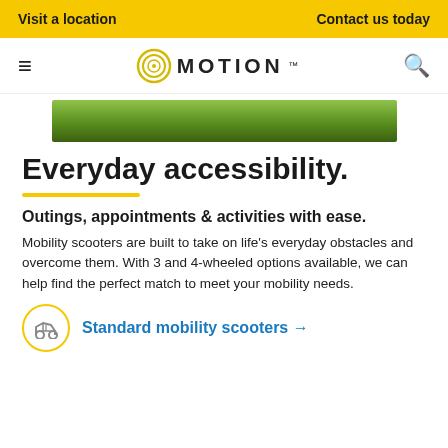Visit a location    Contact us today
[Figure (logo): Motion logo with concentric circle icon and MOTION wordmark]
[Figure (photo): Outdoor grassy landscape hero image, partially visible]
Everyday accessibility.
Outings, appointments & activities with ease.
Mobility scooters are built to take on life's everyday obstacles and overcome them. With 3 and 4-wheeled options available, we can help find the perfect match to meet your mobility needs.
Standard mobility scooters →